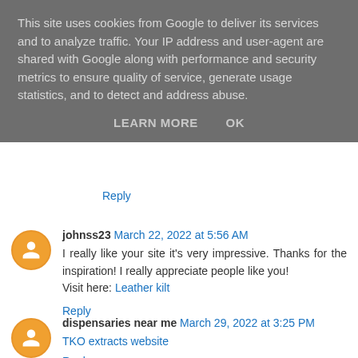This site uses cookies from Google to deliver its services and to analyze traffic. Your IP address and user-agent are shared with Google along with performance and security metrics to ensure quality of service, generate usage statistics, and to detect and address abuse.
LEARN MORE   OK
Reply
johnss23  March 22, 2022 at 5:56 AM
I really like your site it's very impressive. Thanks for the inspiration! I really appreciate people like you!
Visit here: Leather kilt
Reply
dispensaries near me  March 29, 2022 at 3:25 PM
TKO extracts website
Reply